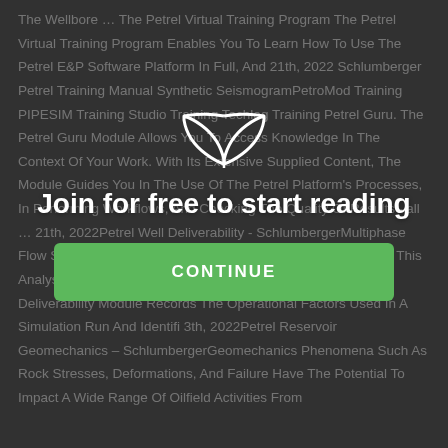The Wellbore … The Petrel Virtual Training Program The Petrel Virtual Training Program Enables You To Learn How To Use The Petrel E&P Software Platform In Full, And 21th, 2022 Schlumberger Petrel Training Manual Synthetic SeismogramPetroMod Training PIPESIM Training Studio Training Techlog Training Petrel Guru. The Petrel Guru Module Allows You To Access Knowledge In The Context Of Your Work. With Its Extensive Supplied Content, The Module Guides You In The Use Of The Petrel Platform's Processes, In Performing Workflows, And Checking The Quality Of Results– all … 21th, 2022Petrel Well Deliverability - SchlumbergerMultiphase Flow Simulator, The Petrel Well Deliverability Module Performs This Analysis On Multiple Wells Simultaneously. The Petrel Well Deliverability Module Records The Operational Factors Used In A Simulation Run And Identifi 3th, 2022Petrel Reservoir Geomechanics – SchlumbergerGeomechanics Phenomena Such As Rock Stresses, Deformations, And Failure Have The Potential To Impact A Wide Range Of Oilfield Activities From
[Figure (illustration): Open book icon (white outline) centered in upper-middle area of page]
Join for free to start reading
CONTINUE